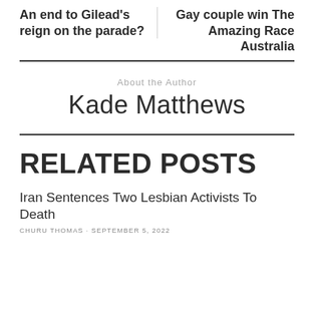An end to Gilead's reign on the parade?
Gay couple win The Amazing Race Australia
About the Author
Kade Matthews
RELATED POSTS
Iran Sentences Two Lesbian Activists To Death
CHURU THOMAS · SEPTEMBER 5, 2022